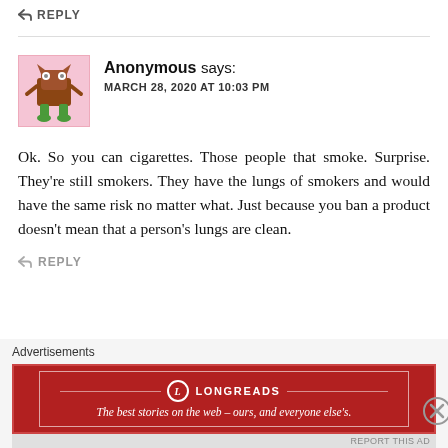↩ REPLY
[Figure (illustration): Avatar image of a cartoon monster character with green legs and horns on a pink background]
Anonymous says: MARCH 28, 2020 AT 10:03 PM
Ok. So you can cigarettes. Those people that smoke. Surprise. They're still smokers. They have the lungs of smokers and would have the same risk no matter what. Just because you ban a product doesn't mean that a person's lungs are clean.
↩ REPLY
[Figure (illustration): Avatar image of a cartoon monster character on a pink background]
Anonymous says:
[Figure (screenshot): Longreads advertisement banner: The best stories on the web – ours, and everyone else's.]